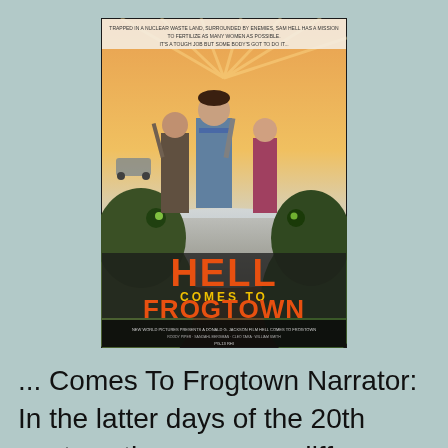[Figure (photo): Movie poster for 'Hell Comes To Frogtown' showing three characters standing in a post-apocalyptic landscape with giant frog creatures in the foreground. Bold orange and yellow title text reads 'HELL COMES TO FROGTOWN'.]
... Comes To Frogtown Narrator: In the latter days of the 20th century, there arose a difference of opinion. [a nuclear bomb suddenly detonates] Narrator: The leading